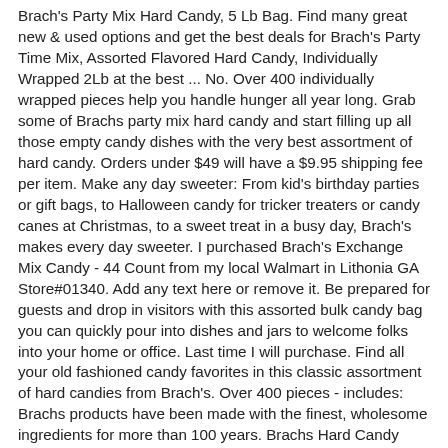Brach's Party Mix Hard Candy, 5 Lb Bag. Find many great new & used options and get the best deals for Brach's Party Time Mix, Assorted Flavored Hard Candy, Individually Wrapped 2Lb at the best ... No. Over 400 individually wrapped pieces help you handle hunger all year long. Grab some of Brachs party mix hard candy and start filling up all those empty candy dishes with the very best assortment of hard candy. Orders under $49 will have a $9.95 shipping fee per item. Make any day sweeter: From kid's birthday parties or gift bags, to Halloween candy for tricker treaters or candy canes at Christmas, to a sweet treat in a busy day, Brach's makes every day sweeter. I purchased Brach's Exchange Mix Candy - 44 Count from my local Walmart in Lithonia GA Store#01340. Add any text here or remove it. Be prepared for guests and drop in visitors with this assorted bulk candy bag you can quickly pour into dishes and jars to welcome folks into your home or office. Last time I will purchase. Find all your old fashioned candy favorites in this classic assortment of hard candies from Brach's. Over 400 pieces - includes: Brachs products have been made with the finest, wholesome ingredients for more than 100 years. Brachs Hard Candy Party Mix. Did you know Brach's ... The rest of the 345 pieces was the peppermint, spearmint, and cinnamon. Brach's Party Mix Hard Candy, 5 Lb Bag is one of many available through Office Depot. Brach's Chocolate Party Mix is a classic chocolate assortment similar to bridge mix, but with smaller pieces such as chocolate covered peanuts and raisins! Free shipping . 5 pounds of your favorite hard Candies. FS132/1. A variety of candies to offer different flavors. Boscov's (50,000+) Boscov's (50,000+) 82 Reviews Arcor Assorted Candies, Hard Candy, 5-Lb Bag 12.99 $ 12 99 /each. Whether you are stocking up your break room or...